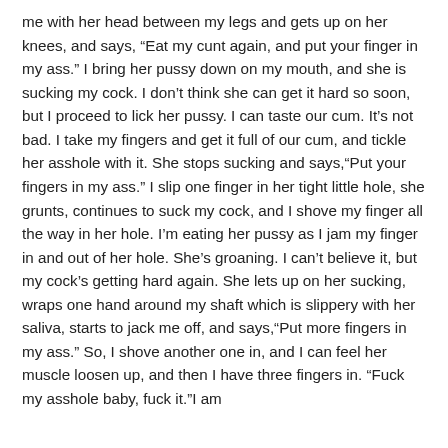me with her head between my legs and gets up on her knees, and says, “Eat my cunt again, and put your finger in my ass.” I bring her pussy down on my mouth, and she is sucking my cock. I don’t think she can get it hard so soon, but I proceed to lick her pussy. I can taste our cum. It’s not bad. I take my fingers and get it full of our cum, and tickle her asshole with it. She stops sucking and says,“Put your fingers in my ass.” I slip one finger in her tight little hole, she grunts, continues to suck my cock, and I shove my finger all the way in her hole. I’m eating her pussy as I jam my finger in and out of her hole. She’s groaning. I can’t believe it, but my cock’s getting hard again. She lets up on her sucking, wraps one hand around my shaft which is slippery with her saliva, starts to jack me off, and says,“Put more fingers in my ass.” So, I shove another one in, and I can feel her muscle loosen up, and then I have three fingers in. “Fuck my asshole baby, fuck it.”I am